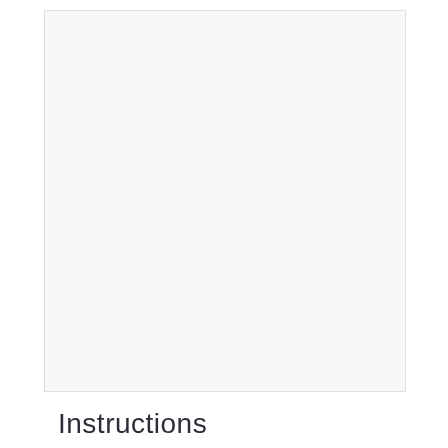[Figure (other): Large light-colored rectangular image placeholder area with off-white/light gray background]
Instructions